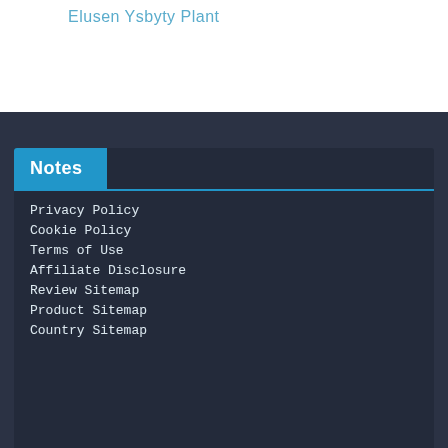Elusen Ysbyty Plant
Notes
Privacy Policy
Cookie Policy
Terms of Use
Affiliate Disclosure
Review Sitemap
Product Sitemap
Country Sitemap
Contact Us